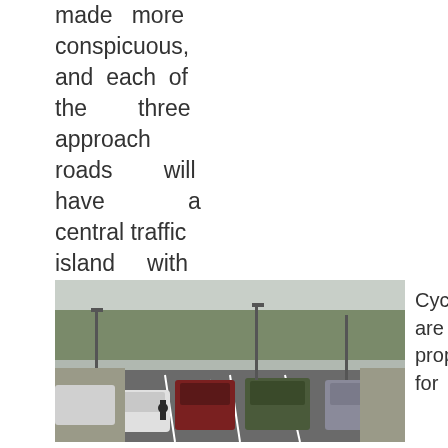made more conspicuous, and each of the three approach roads will have a central traffic island with 'keep left' bollards installed.
[Figure (photo): A road scene showing traffic with cars and a cyclist, street lights, and trees in the background. A suburban road with lane markings.]
Cycle lanes are proposed for